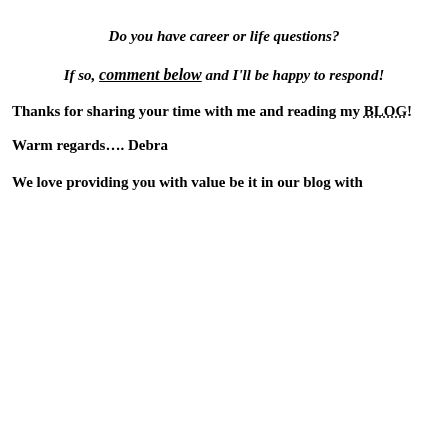Do you have career or life questions?
If so, comment below and I'll be happy to respond!
Thanks for sharing your time with me and reading my BLOG!
Warm regards…. Debra
We love providing you with value be it in our blog with